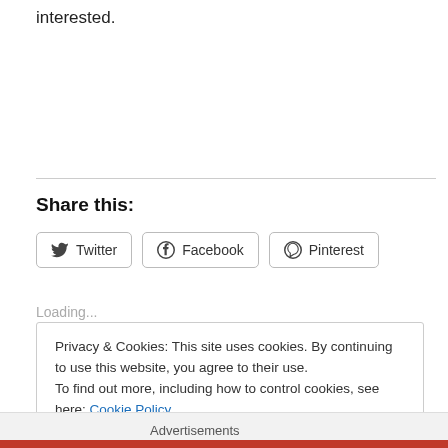interested.
Share this:
Twitter  Facebook  Pinterest
Loading...
Privacy & Cookies: This site uses cookies. By continuing to use this website, you agree to their use.
To find out more, including how to control cookies, see here: Cookie Policy
Close and accept
Advertisements